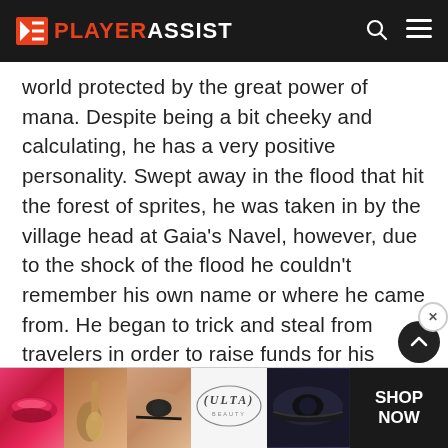PLAYER ASSIST
world protected by the great power of mana. Despite being a bit cheeky and calculating, he has a very positive personality. Swept away in the flood that hit the forest of sprites, he was taken in by the village head at Gaia’s Navel, however, due to the shock of the flood he couldn’t remember his own name or where he came from. He began to trick and steal from travelers in order to raise funds for his journey home, however, that was until he came across Randi, the boy with the legendary holy sword.
[Figure (other): Ulta Beauty advertisement banner with cosmetics imagery and SHOP NOW call to action]